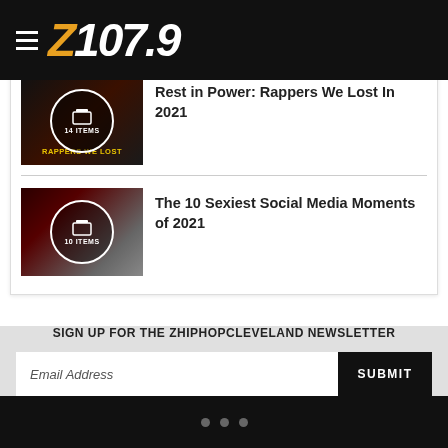Z107.9
[Figure (photo): Thumbnail image for 'Rest in Power: Rappers We Lost In 2021' showing a dark collage with yellow text 'RAPPERS WE LOST' and a circle badge reading '14 ITEMS']
Rest in Power: Rappers We Lost In 2021
[Figure (photo): Thumbnail image for 'The 10 Sexiest Social Media Moments of 2021' showing a dark red-toned image of people at an event with a circle badge reading '10 ITEMS']
The 10 Sexiest Social Media Moments of 2021
SIGN UP FOR THE ZHIPHOPCLEVELAND NEWSLETTER
Email Address
SUBMIT